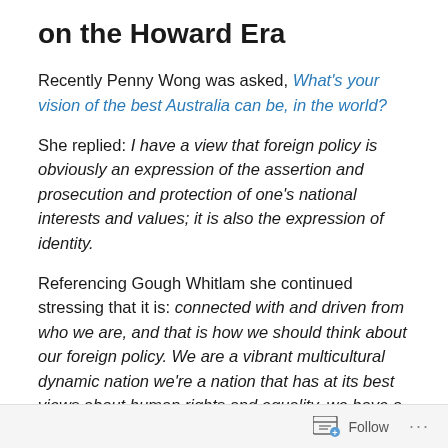on the Howard Era
Recently Penny Wong was asked, What's your vision of the best Australia can be, in the world?
She replied: I have a view that foreign policy is obviously an expression of the assertion and prosecution and protection of one's national interests and values; it is also the expression of identity.
Referencing Gough Whitlam she continued stressing that it is: connected with and driven from who we are, and that is how we should think about our foreign policy. We are a vibrant multicultural dynamic nation we're a nation that has at its best views about human rights and equality, we have a view about the world and the sort of world we want
Follow ...